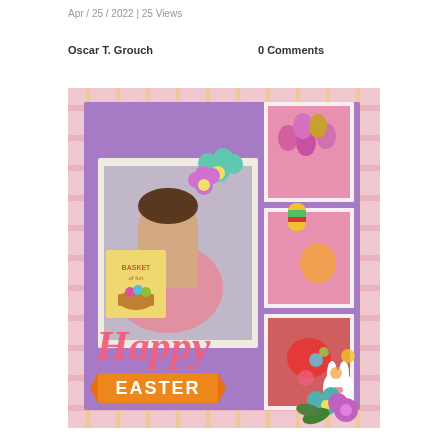Apr / 25 / 2022 | 25 Views
Oscar T. Grouch
0 Comments
[Figure (photo): Easter-themed digital scrapbook layout featuring a woman hugging a large pink plush pig, Easter eggs in a pink box, a chick decoration, Easter bunny, flowers, and the text 'Happy EASTER'. Purple plaid background with colorful decorations.]